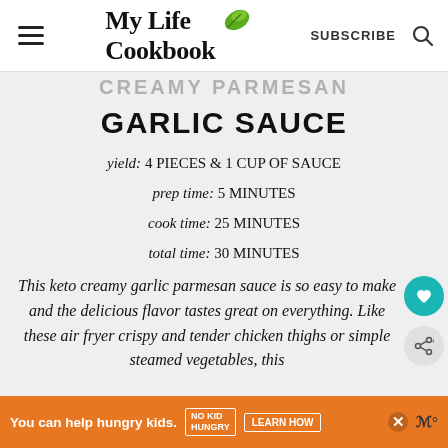My Life Cookbook — SUBSCRIBE
GARLIC SAUCE
yield: 4 PIECES & 1 CUP OF SAUCE
prep time: 5 MINUTES
cook time: 25 MINUTES
total time: 30 MINUTES
This keto creamy garlic parmesan sauce is so easy to make and the delicious flavor tastes great on everything. Like these air fryer crispy and tender chicken thighs or simple steamed vegetables, this
You can help hungry kids. NO KID HUNGRY LEARN HOW